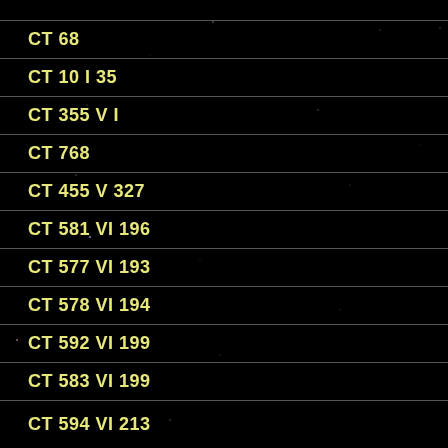[Figure (photo): Star field image with black background and scattered faint stars/points of light]
CT 68
CT 10 I 35
CT 355 V I
CT 768
CT 455 V 327
CT 581 VI 196
CT 577 VI 193
CT 578 VI 194
CT 592 VI 199
CT 583 VI 199
CT 594 VI 213